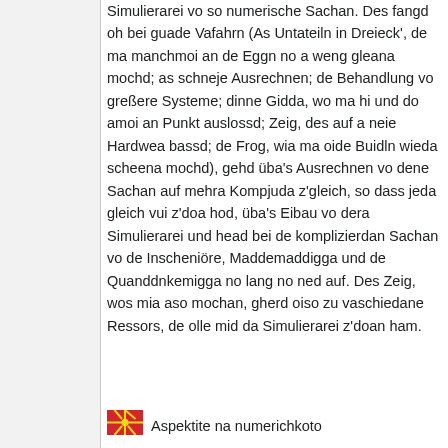Simulierarei vo so numerische Sachan. Des fangd oh bei guade Vafahrn (As Untateiln in Dreieck', de ma manchmoi an de Eggn no a weng gleana mochd; as schneje Ausrechnen; de Behandlung vo greßere Systeme; dinne Gidda, wo ma hi und do amoi an Punkt auslossd; Zeig, des auf a neie Hardwea bassd; de Frog, wia ma oide Buidln wieda scheena mochd), gehd üba's Ausrechnen vo dene Sachan auf mehra Kompjuda z'gleich, so dass jeda gleich vui z'doa hod, üba's Eibau vo dera Simulierarei und head bei de komplizierdan Sachan vo de Inscheniöre, Maddemaddigga und de Quanddnkemigga no lang no ned auf. Des Zeig, wos mia aso mochan, gherd oiso zu vaschiedane Ressors, de olle mid da Simulierarei z'doan ham.
[Figure (illustration): Flag of North Macedonia - red background with yellow sun and rays]
Aspektite na numerichkoto